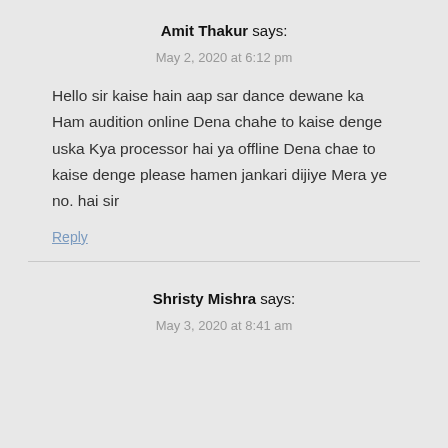Amit Thakur says:
May 2, 2020 at 6:12 pm
Hello sir kaise hain aap sar dance dewane ka Ham audition online Dena chahe to kaise denge uska Kya processor hai ya offline Dena chae to kaise denge please hamen jankari dijiye Mera ye no. hai sir
Reply
Shristy Mishra says:
May 3, 2020 at 8:41 am